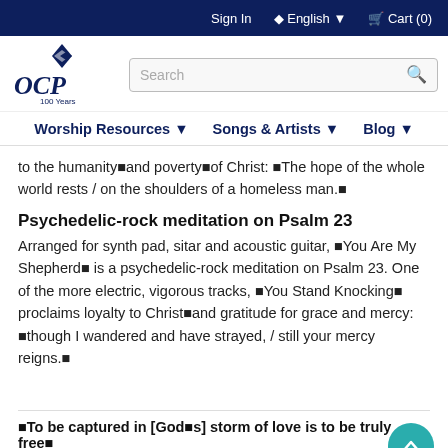Sign In  English  Cart (0)
[Figure (logo): OCP 100 Years logo in dark navy blue]
to the humanity■and poverty■of Christ: ■The hope of the whole world rests / on the shoulders of a homeless man.■
Psychedelic-rock meditation on Psalm 23
Arranged for synth pad, sitar and acoustic guitar, ■You Are My Shepherd■ is a psychedelic-rock meditation on Psalm 23. One of the more electric, vigorous tracks, ■You Stand Knocking■ proclaims loyalty to Christ■and gratitude for grace and mercy: ■though I wandered and have strayed, / still your mercy reigns.■
■To be captured in [God■s] storm of love is to be truly free■